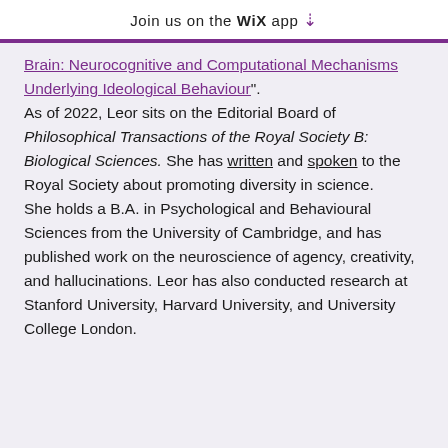Join us on the WiX app ⬇
Brain: Neurocognitive and Computational Mechanisms Underlying Ideological Behaviour".
As of 2022, Leor sits on the Editorial Board of Philosophical Transactions of the Royal Society B: Biological Sciences. She has written and spoken to the Royal Society about promoting diversity in science.
She holds a B.A. in Psychological and Behavioural Sciences from the University of Cambridge, and has published work on the neuroscience of agency, creativity, and hallucinations. Leor has also conducted research at Stanford University, Harvard University, and University College London.